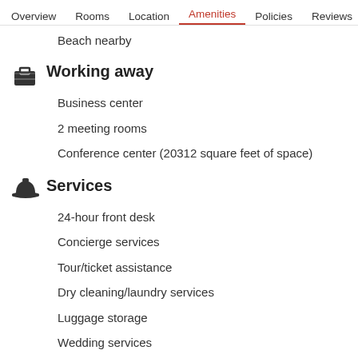Overview  Rooms  Location  Amenities  Policies  Reviews
Beach nearby
Working away
Business center
2 meeting rooms
Conference center (20312 square feet of space)
Services
24-hour front desk
Concierge services
Tour/ticket assistance
Dry cleaning/laundry services
Luggage storage
Wedding services
Multilingual staff
Porter/bellhop